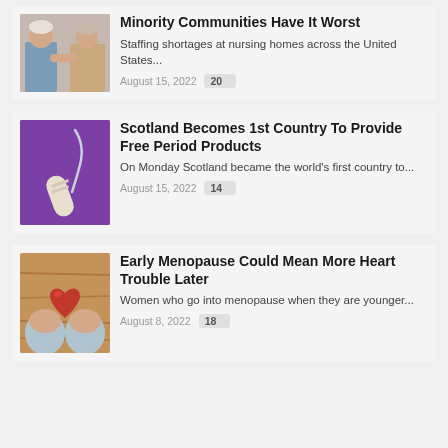[Figure (photo): Elderly couple sitting together, partial view cropped at top]
Minority Communities Have It Worst
Staffing shortages at nursing homes across the United States...
August 15, 2022   20
[Figure (photo): A tampon on a purple background]
Scotland Becomes 1st Country To Provide Free Period Products
On Monday Scotland became the world's first country to...
August 15, 2022   14
[Figure (photo): Hands holding a red heart shape against a wooden background]
Early Menopause Could Mean More Heart Trouble Later
Women who go into menopause when they are younger...
August 8, 2022   18